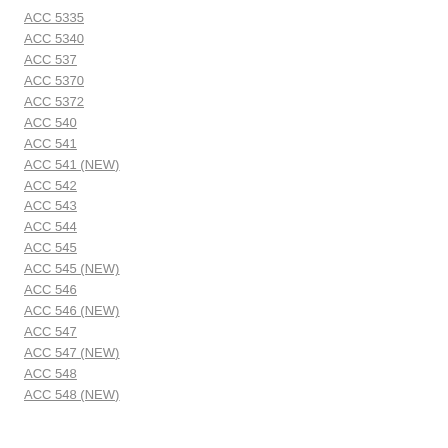ACC 5335
ACC 5340
ACC 537
ACC 5370
ACC 5372
ACC 540
ACC 541
ACC 541 (NEW)
ACC 542
ACC 543
ACC 544
ACC 545
ACC 545 (NEW)
ACC 546
ACC 546 (NEW)
ACC 547
ACC 547 (NEW)
ACC 548
ACC 548 (NEW)